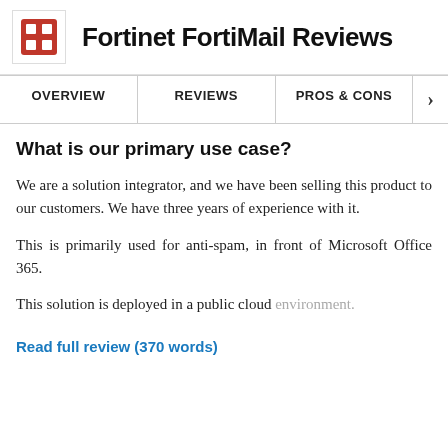Fortinet FortiMail Reviews
What is our primary use case?
We are a solution integrator, and we have been selling this product to our customers. We have three years of experience with it.
This is primarily used for anti-spam, in front of Microsoft Office 365.
This solution is deployed in a public cloud environment.
Read full review (370 words)